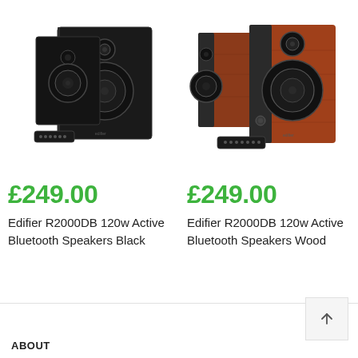[Figure (photo): Black Edifier R2000DB bookshelf speakers with remote control]
[Figure (photo): Wood finish Edifier R2000DB bookshelf speakers with remote control]
£249.00
£249.00
Edifier R2000DB 120w Active Bluetooth Speakers Black
Edifier R2000DB 120w Active Bluetooth Speakers Wood
ABOUT